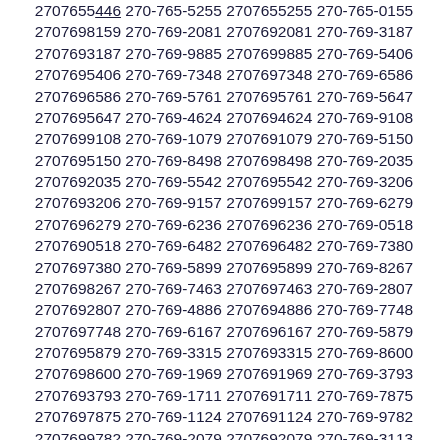2707655446 270-765-5255 2707655255 270-765-0155 2707698159 270-769-2081 2707692081 270-769-3187 2707693187 270-769-9885 2707699885 270-769-5406 2707695406 270-769-7348 2707697348 270-769-6586 2707696586 270-769-5761 2707695761 270-769-5647 2707695647 270-769-4624 2707694624 270-769-9108 2707699108 270-769-1079 2707691079 270-769-5150 2707695150 270-769-8498 2707698498 270-769-2035 2707692035 270-769-5542 2707695542 270-769-3206 2707693206 270-769-9157 2707699157 270-769-6279 2707696279 270-769-6236 2707696236 270-769-0518 2707690518 270-769-6482 2707696482 270-769-7380 2707697380 270-769-5899 2707695899 270-769-8267 2707698267 270-769-7463 2707697463 270-769-2807 2707692807 270-769-4886 2707694886 270-769-7748 2707697748 270-769-6167 2707696167 270-769-5879 2707695879 270-769-3315 2707693315 270-769-8600 2707698600 270-769-1969 2707691969 270-769-3793 2707693793 270-769-1711 2707691711 270-769-7875 2707697875 270-769-1124 2707691124 270-769-9782 2707699782 270-769-2079 2707692079 270-769-3113 2707693113 270-769-8766 2707698766 270-769-9435 2707699435 270-769-3036 2707693036 270-769-3013 2707693013 270-769-7341 2707697341 270-769-0224 2707690224 270-769-9689 2707699689 270-769-0825 2707690825 270-769-5815 2707695815 270-769-1025